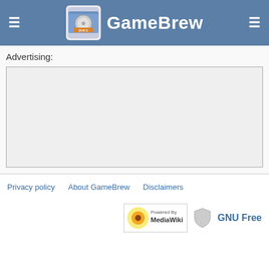GameBrew
Advertising:
[Figure (other): Empty advertisement placeholder box with border]
Privacy policy   About GameBrew   Disclaimers   [Powered by MediaWiki]   GNU Free